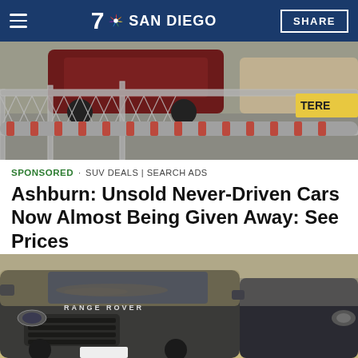7 NBC SAN DIEGO | SHARE
[Figure (photo): A chain-link fence with red and silver bolts/cylinders, a dark red SUV in a parking lot in the background, and a yellow sign partially visible reading TERE]
SPONSORED · SUV DEALS | SEARCH ADS
Ashburn: Unsold Never-Driven Cars Now Almost Being Given Away: See Prices
[Figure (photo): A dusty dark green/black Range Rover SUV parked outdoors, covered in dust, with another dark SUV partially visible to the right]